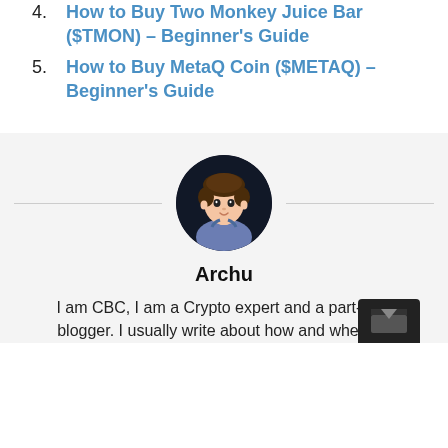4. How to Buy Two Monkey Juice Bar ($TMON) – Beginner's Guide
5. How to Buy MetaQ Coin ($METAQ) – Beginner's Guide
[Figure (illustration): Circular avatar image of an animated 3D character named Archu with dark background]
Archu
I am CBC, I am a Crypto expert and a part-time blogger. I usually write about how and where to